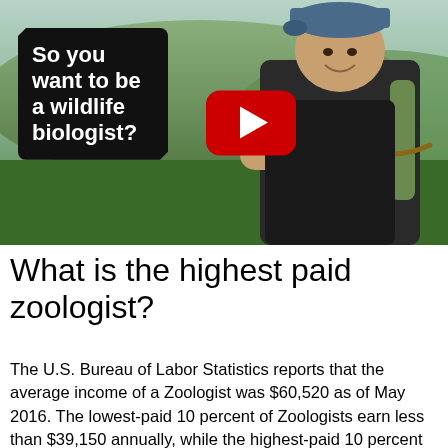[Figure (screenshot): YouTube video thumbnail showing a man holding a small snake outdoors with a black sign reading 'So you want to be a wildlife biologist?' and a YouTube play button overlay]
What is the highest paid zoologist?
The U.S. Bureau of Labor Statistics reports that the average income of a Zoologist was $60,520 as of May 2016. The lowest-paid 10 percent of Zoologists earn less than $39,150 annually, while the highest-paid 10 percent earn more than $98,540 annually.